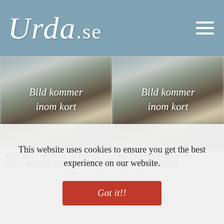[Figure (logo): Urda.se website logo in white italic script on blue-grey background header, with hamburger menu icon top right]
[Figure (photo): Blurred product photo of a belt bag in dark blue twill wool with text overlay 'Bild kommer inom kort']
BELT BAG, DARK BLUE TWILL WOOL, MUDDED RED RIBBONS
[Figure (photo): Blurred product photo of a belt bag in green twill wool with text overlay 'Bild kommer inom kort']
BELT BAG, GREEN TWILL WOOL, RED RIBBONS
This website uses cookies to ensure you get the best experience on our website.
Got it!!!